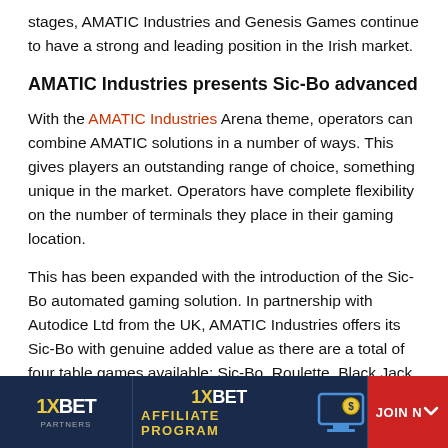stages, AMATIC Industries and Genesis Games continue to have a strong and leading position in the Irish market.
AMATIC Industries presents Sic-Bo advanced
With the AMATIC Industries Arena theme, operators can combine AMATIC solutions in a number of ways. This gives players an outstanding range of choice, something unique in the market. Operators have complete flexibility on the number of terminals they place in their gaming location.
This has been expanded with the introduction of the Sic-Bo automated gaming solution. In partnership with Autodice Ltd from the UK, AMATIC Industries offers its Sic-Bo with genuine added value as there are a total of four table games available: Sic-Bo, Roulette, Black Jack and Punto Banco. Therefore,
[Figure (other): 1XBET Partners Affiliate Program advertisement banner with logo, affiliate program text, monitor icon, and JOIN button]